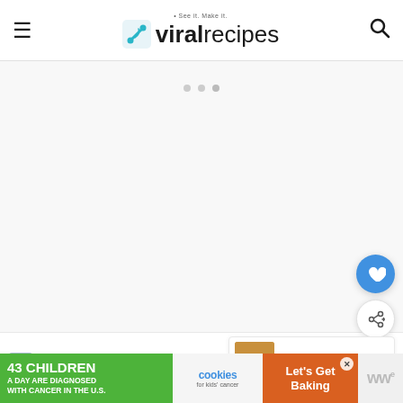viral recipes • See it. Make it.
[Figure (screenshot): Large blank/loading content area with three grey loading dots near the top center]
[Figure (infographic): Floating blue heart button and grey share button on the right side]
[Figure (other): What's Next panel showing TikTok Mac and Cheese thumbnail]
10 Add 2 tablespoons of your favorite chocolate
[Figure (infographic): Bottom advertisement banner: 43 Children A Day Are Diagnosed With Cancer In The U.S. — cookies for kids' cancer — Let's Get Baking]